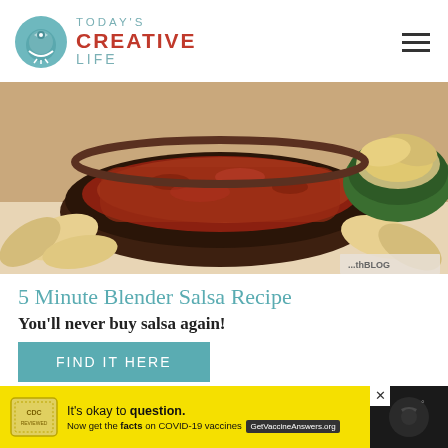[Figure (logo): Today's Creative Life logo with teal bird circle icon and text]
[Figure (photo): Bowl of blender salsa surrounded by tortilla chips, dark brown ceramic bowl, green bowl in background]
5 Minute Blender Salsa Recipe
You'll never buy salsa again!
FIND IT HERE
[Figure (infographic): Yellow advertisement bar: It's okay to question. Now get the facts on COVID-19 vaccines. GetVaccineAnswers.org]